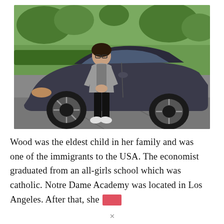[Figure (photo): A woman standing next to a dark blue/grey Tesla Model 3 car in a driveway or parking area, with green lawn and trees in the background. She is wearing a grey blazer, grey t-shirt, black pants, and white sneakers.]
Wood was the eldest child in her family and was one of the immigrants to the USA. The economist graduated from an all-girls school which was catholic. Notre Dame Academy was located in Los Angeles. After that, she